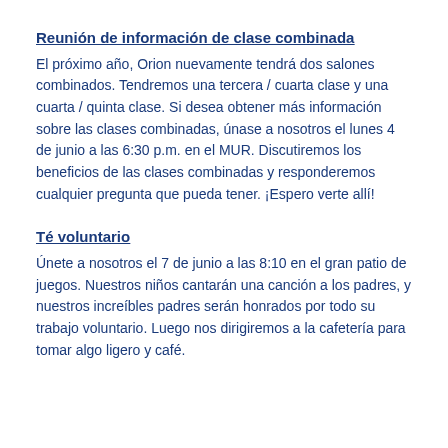Reunión de información de clase combinada
El próximo año, Orion nuevamente tendrá dos salones combinados. Tendremos una tercera / cuarta clase y una cuarta / quinta clase. Si desea obtener más información sobre las clases combinadas, únase a nosotros el lunes 4 de junio a las 6:30 p.m. en el MUR. Discutiremos los beneficios de las clases combinadas y responderemos cualquier pregunta que pueda tener. ¡Espero verte allí!
Té voluntario
Únete a nosotros el 7 de junio a las 8:10 en el gran patio de juegos. Nuestros niños cantarán una canción a los padres, y nuestros increíbles padres serán honrados por todo su trabajo voluntario. Luego nos dirigiremos a la cafetería para tomar algo ligero y café.